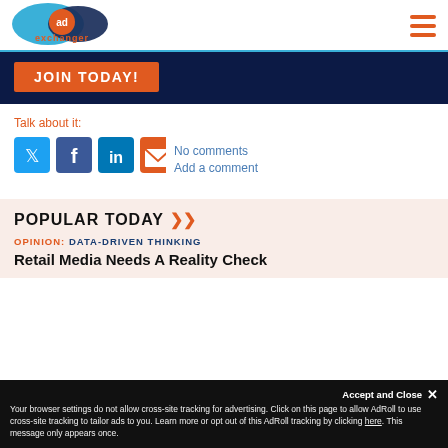AdExchanger logo and hamburger menu
[Figure (logo): AdExchanger logo: teal and dark blue overlapping oval shapes with 'ad' circle and 'exchanger' text in orange]
JOIN TODAY!
Talk about it:
[Figure (infographic): Social sharing icons: Twitter (blue), Facebook (dark blue), LinkedIn (blue), Email (orange)]
No comments
Add a comment
POPULAR TODAY
OPINION: DATA-DRIVEN THINKING
Retail Media Needs A Reality Check
Your browser settings do not allow cross-site tracking for advertising. Click on this page to allow AdRoll to use cross-site tracking to tailor ads to you. Learn more or opt out of this AdRoll tracking by clicking here. This message only appears once.